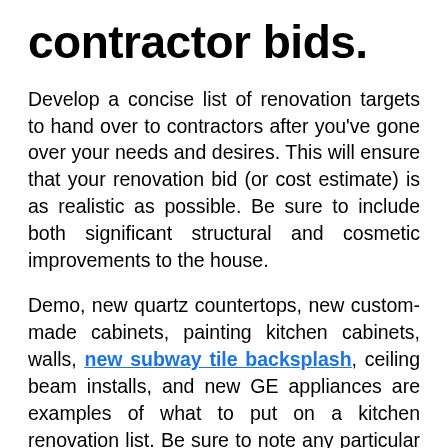contractor bids.
Develop a concise list of renovation targets to hand over to contractors after you’ve gone over your needs and desires. This will ensure that your renovation bid (or cost estimate) is as realistic as possible. Be sure to include both significant structural and cosmetic improvements to the house.
Demo, new quartz countertops, new custom-made cabinets, painting kitchen cabinets, walls, new subway tile backsplash, ceiling beam installs, and new GE appliances are examples of what to put on a kitchen renovation list. Be sure to note any particular brands you wish to use. A contractor should